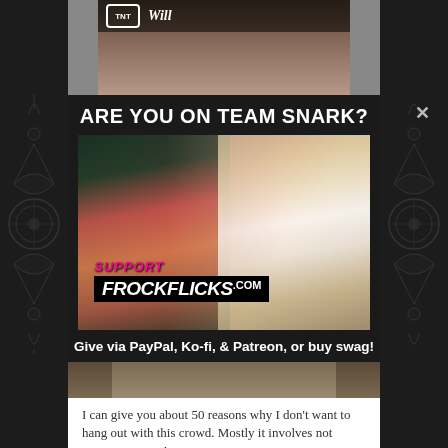[Figure (screenshot): TNT 'Will' TV advertisement banner at top]
ARE YOU ON TEAM SNARK?
[Figure (photo): Two women in period costume facing each other with 'SUPPORT FROCKFLICKS.COM' overlay text on a black banner]
Give via PayPal, Ko-fi, & Patreon, or buy swag!
[Figure (photo): Partial view of period crowd scene at bottom]
I can give you about 50 reasons why I don't want to hang out with this crowd. Mostly it involves not wanting to see their piercings